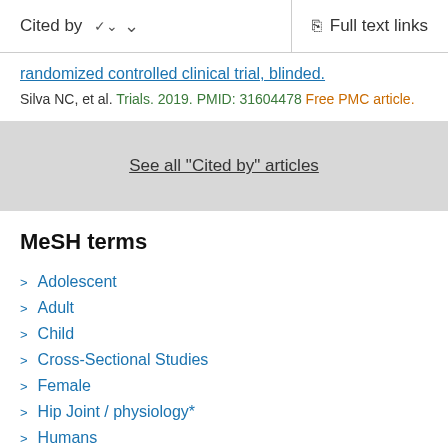Cited by   ∨      Full text links
randomized controlled clinical trial, blinded.
Silva NC, et al. Trials. 2019. PMID: 31604478 Free PMC article.
See all "Cited by" articles
MeSH terms
Adolescent
Adult
Child
Cross-Sectional Studies
Female
Hip Joint / physiology*
Humans
Muscle Strength / physiology*